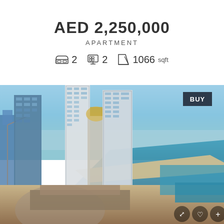AED 2,250,000
APARTMENT
2 bedrooms  2 bathrooms  1066 sqft
[Figure (photo): Aerial view of Dubai Marina skyscrapers with sea, coastline and construction in background. BUY badge in top right corner.]